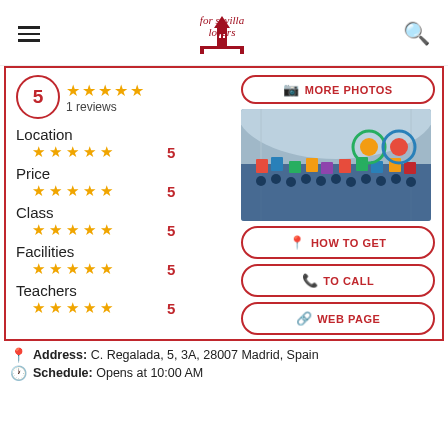for sevilla lovers
5 ★★★★★ 1 reviews
Location ★★★★★ 5
Price ★★★★★ 5
Class ★★★★★ 5
Facilities ★★★★★ 5
Teachers ★★★★★ 5
[Figure (photo): Group photo of people inside a large hall with arched glass ceiling, holding colorful signs/boards]
MORE PHOTOS
HOW TO GET
TO CALL
WEB PAGE
Address: C. Regalada, 5, 3A, 28007 Madrid, Spain
Schedule: Opens at 10:00 AM